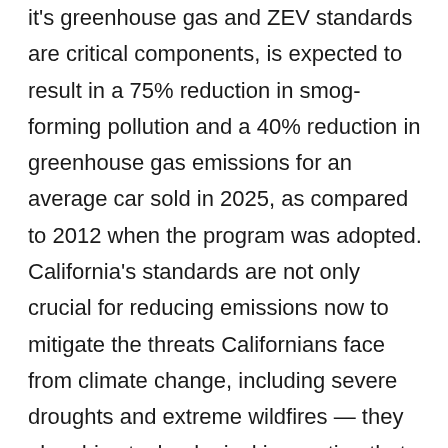it's greenhouse gas and ZEV standards are critical components, is expected to result in a 75% reduction in smog-forming pollution and a 40% reduction in greenhouse gas emissions for an average car sold in 2025, as compared to 2012 when the program was adopted. California's standards are not only crucial for reducing emissions now to mitigate the threats Californians face from climate change, including severe droughts and extreme wildfires — they also drive technological innovation that will enable deeper emissions reductions of all of these harmful pollutants in the future.
Attorney General Bonta and CARB Chair Randolph